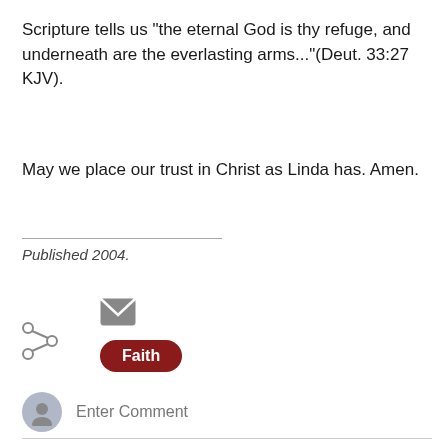Scripture tells us "the eternal God is thy refuge, and underneath are the everlasting arms..."(Deut. 33:27 KJV).
May we place our trust in Christ as Linda has. Amen.
--------------------------------
Published 2004.
[Figure (infographic): Share icon (less-than symbol with dots), mail envelope icon, and a dark red pill-shaped tag labeled 'Faith']
Enter Comment